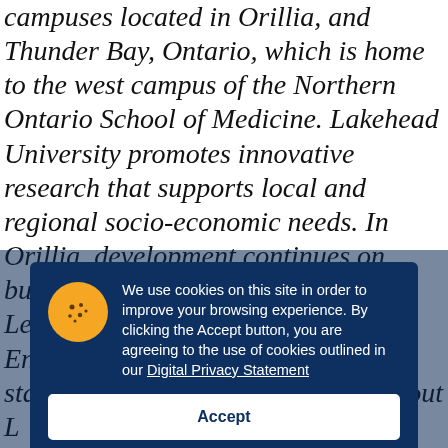campuses located in Orillia, and Thunder Bay, Ontario, which is home to the west campus of the Northern Ontario School of Medicine. Lakehead University promotes innovative research that supports local and regional socio-economic needs. In Orillia, development continues on building a campus that meets Leadership in Energy and Environmental Design (LEED®) standards. For more information about L...
[Figure (screenshot): Cookie consent banner overlay on a university webpage. Dark navy blue rounded rectangle containing a yellow cookie icon (circle with cookie illustration), text about cookie usage policy, a link to Digital Privacy Statement, and an Accept button.]